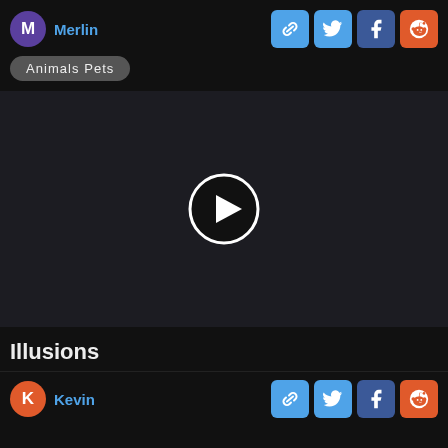Merlin
[Figure (screenshot): Share buttons: link, Twitter, Facebook, Reddit]
Animals Pets
[Figure (screenshot): Video player area with play button in dark background]
Illusions
Kevin
[Figure (screenshot): Share buttons at bottom: link, Twitter, Facebook, Reddit]